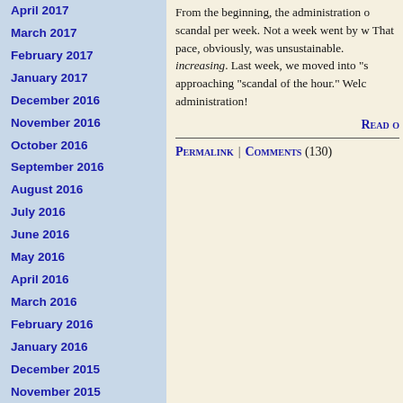April 2017
March 2017
February 2017
January 2017
December 2016
November 2016
October 2016
September 2016
August 2016
July 2016
June 2016
May 2016
April 2016
March 2016
February 2016
January 2016
December 2015
November 2015
October 2015
September 2015
August 2015
July 2015
June 2015
May 2015
April 2015
March 2015
From the beginning, the administration o scandal per week. Not a week went by w That pace, obviously, was unsustainable. increasing. Last week, we moved into "s approaching "scandal of the hour." Welc administration!
Read o
Permalink | Comments (130)